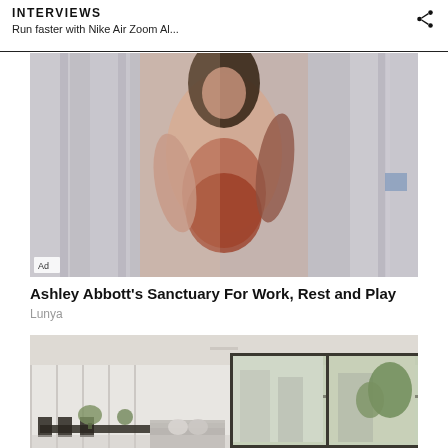INTERVIEWS
Run faster with Nike Air Zoom Al...
[Figure (photo): Fashion photo of a woman wearing layered pink and rust-colored outfit standing in front of sheer white curtains, with 'Ad' label in bottom-left corner]
Ashley Abbott's Sanctuary For Work, Rest and Play
Lunya
[Figure (photo): Interior photo of a modern bright living/dining room with large windows overlooking greenery, white walls, grey furniture, and potted plants]